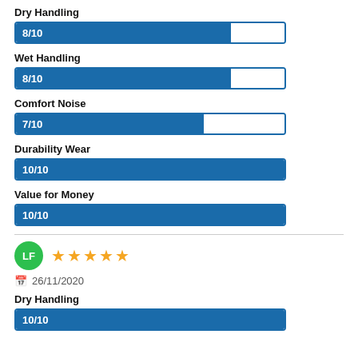Dry Handling
[Figure (bar-chart): Dry Handling]
Wet Handling
[Figure (bar-chart): Wet Handling]
Comfort Noise
[Figure (bar-chart): Comfort Noise]
Durability Wear
[Figure (bar-chart): Durability Wear]
Value for Money
[Figure (bar-chart): Value for Money]
LF — 5 stars — 26/11/2020
Dry Handling
[Figure (bar-chart): Dry Handling]